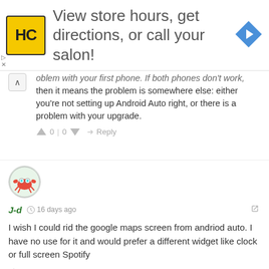[Figure (infographic): Advertisement banner: HC salon logo (yellow square with HC text), text 'View store hours, get directions, or call your salon!', blue diamond arrow navigation icon on right]
oblem with your first phone. If both phones don't work, then it means the problem is somewhere else: either you're not setting up Android Auto right, or there is a problem with your upgrade.
0 | 0   Reply
[Figure (illustration): User avatar: cartoon crab/alien character on circular badge]
J-d   16 days ago
I wish I could rid the google maps screen from andriod auto. I have no use for it and would prefer a different widget like clock or full screen Spotify
0 | 0   Reply